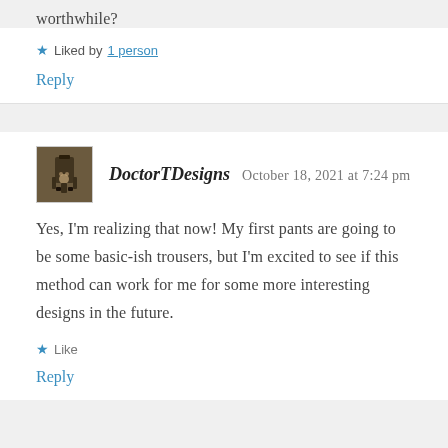worthwhile?
★ Liked by 1 person
Reply
DoctorTDesigns   October 18, 2021 at 7:24 pm
Yes, I'm realizing that now! My first pants are going to be some basic-ish trousers, but I'm excited to see if this method can work for me for some more interesting designs in the future.
★ Like
Reply